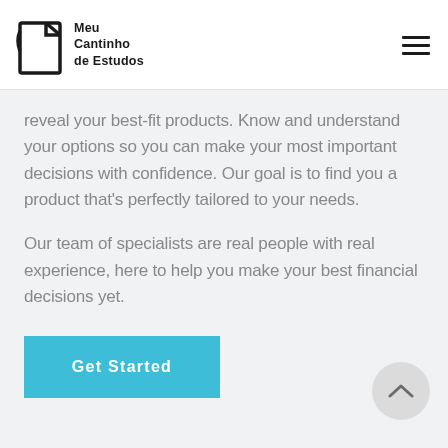Meu Cantinho de Estudos
reveal your best-fit products. Know and understand your options so you can make your most important decisions with confidence. Our goal is to find you a product that's perfectly tailored to your needs.
Our team of specialists are real people with real experience, here to help you make your best financial decisions yet.
Get Started